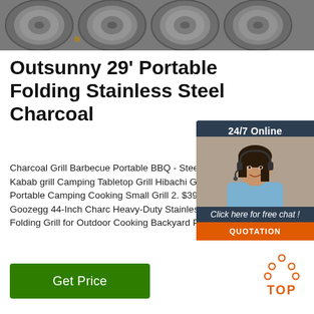[Figure (photo): Top banner photo of metal steel tubes/pipes stacked together, close-up view]
Outsunny 29' Portable Folding Stainless Steel Charcoal
Charcoal Grill Barbecue Portable BBQ - Steel Folding BBQ Kabab grill Camping Tabletop Grill Hibachi Grill for Shish Kab Portable Camping Cooking Small Grill 2. $39.68 $ 39 . 68 Goozegg 44-Inch Charc Heavy-Duty Stainless Steel BBQ Folding Grill for Outdoor Cooking Backyard Patio Picnic Park 38
[Figure (photo): 24/7 Online chat widget with woman wearing headset, and QUOTATION button]
[Figure (logo): TOP logo with orange dots arranged in house/triangle shape above the word TOP in orange letters]
Get Price